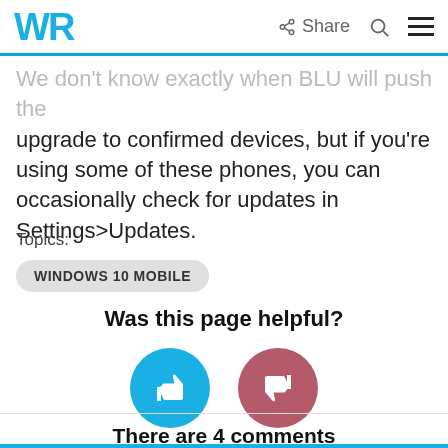WR  Share  [search icon]  [menu icon]
We don't know exactly when BLU will push the upgrade to confirmed devices, but if you're using some of these phones, you can occasionally check for updates in Settings>Updates.
Topics:
WINDOWS 10 MOBILE
Was this page helpful?
[Figure (infographic): Two circular vote buttons: a blue thumbs-up button and a red/pink thumbs-down button]
There are 4 comments